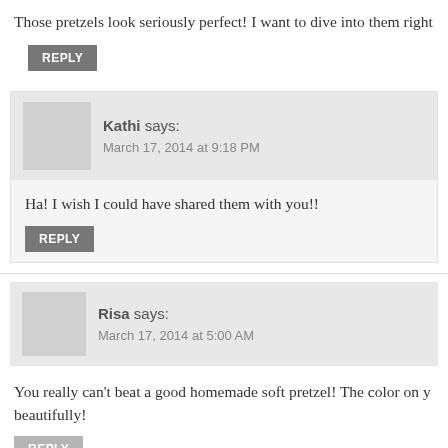Those pretzels look seriously perfect! I want to dive into them right
REPLY
Kathi says:
March 17, 2014 at 9:18 PM
Ha! I wish I could have shared them with you!!
REPLY
Risa says:
March 17, 2014 at 5:00 AM
You really can't beat a good homemade soft pretzel! The color on y beautifully!
REPLY